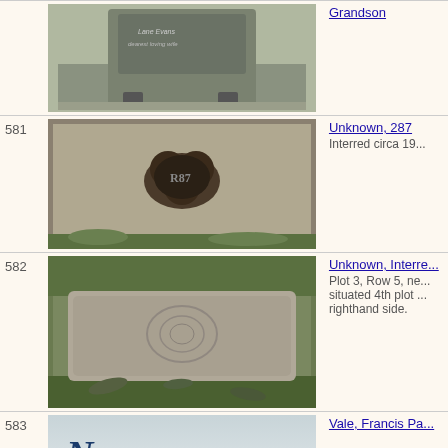| # | Image | Info |
| --- | --- | --- |
|  | Headstone photo (granite) | Grandson |
| 581 | Headstone photo (concrete with emblem) | Unknown, 287
Interred circa 19... |
| 582 | Headstone photo (plain stone) | Unknown, Interred...
Plot 3, Row 5, ne... situated 4th plot ... righthand side. |
| 583 | No Headstone image | Vale, Francis Pa... |